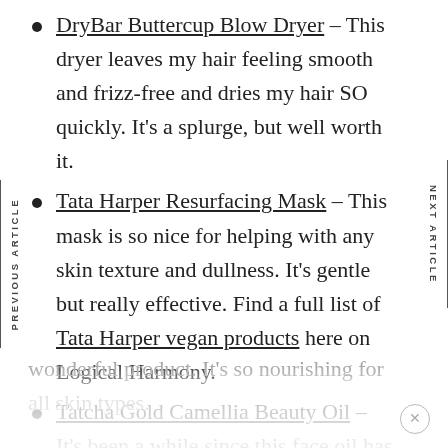DryBar Buttercup Blow Dryer – This dryer leaves my hair feeling smooth and frizz-free and dries my hair SO quickly. It's a splurge, but well worth it.
Tata Harper Resurfacing Mask – This mask is so nice for helping with any skin texture and dullness. It's gentle but really effective. Find a full list of Tata Harper vegan products here on Logical Harmony.
Tatcha Gold Camellia Beauty Oil – It's been a while since this face oil has made the rounds on YouTube, but it's truly a wonderful product. It's so nourishing for all skin types.